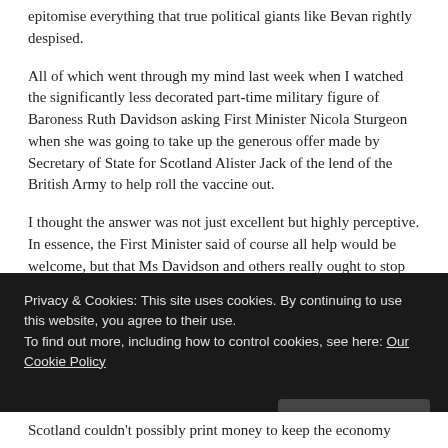epitomise everything that true political giants like Bevan rightly despised.
All of which went through my mind last week when I watched the significantly less decorated part-time military figure of Baroness Ruth Davidson asking First Minister Nicola Sturgeon when she was going to take up the generous offer made by Secretary of State for Scotland Alister Jack of the lend of the British Army to help roll the vaccine out.
I thought the answer was not just excellent but highly perceptive. In essence, the First Minister said of course all help would be welcome, but that Ms Davidson and others really ought to stop making out that this was in any way a favour. The armed forces belong to Scotland as much as anywhere else – indeed many of them live here – because they are paid for completely fairly and
Privacy & Cookies: This site uses cookies. By continuing to use this website, you agree to their use.
To find out more, including how to control cookies, see here: Our Cookie Policy
Scotland couldn't possibly print money to keep the economy